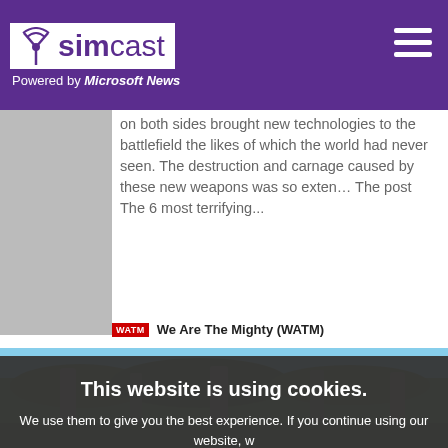simcast — Powered by Microsoft News
on both sides brought new technologies to the battlefield the likes of which the world had never seen. The destruction and carnage caused by these new weapons was so exten… The post The 6 most terrifying...
We Are The Mighty (WATM)
[Figure (photo): Outdoor photo showing ancient standing stones among green bushes and trees under a blue sky]
This website is using cookies. We use them to give you the best experience. If you continue using our website, we will assume that you are happy to receive all cookies on this website.
[Figure (photo): Outdoor photo showing ancient standing stones and grassy ground]